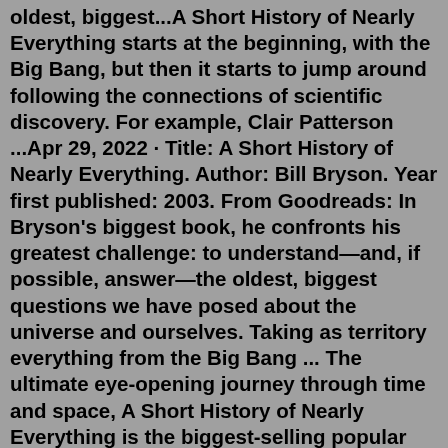oldest, biggest...A Short History of Nearly Everything starts at the beginning, with the Big Bang, but then it starts to jump around following the connections of scientific discovery. For example, Clair Patterson ...Apr 29, 2022 · Title: A Short History of Nearly Everything. Author: Bill Bryson. Year first published: 2003. From Goodreads: In Bryson's biggest book, he confronts his greatest challenge: to understand—and, if possible, answer—the oldest, biggest questions we have posed about the universe and ourselves. Taking as territory everything from the Big Bang ... The ultimate eye-opening journey through time and space, A Short History of Nearly Everything is the biggest-selling popular science book of the 21st century and has sold over 2 million copies. 'Truly impressive...It's hard to imagine a better rough guide to science.'. Guardian 'A travelogue of science, with a witty, engaging, and well-informed ...Bill Bryson, A Short History of Nearly Everything There is a great scene in Woody Allen's film, Hannah and Her Sisters (YR?), in which Woody Allen's character - a neurotic at large -